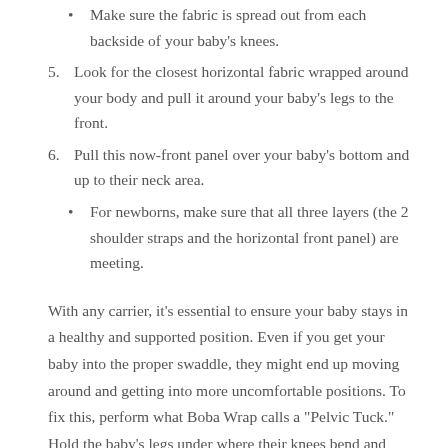Make sure the fabric is spread out from each backside of your baby's knees.
5. Look for the closest horizontal fabric wrapped around your body and pull it around your baby's legs to the front.
6. Pull this now-front panel over your baby's bottom and up to their neck area.
For newborns, make sure that all three layers (the 2 shoulder straps and the horizontal front panel) are meeting.
With any carrier, it's essential to ensure your baby stays in a healthy and supported position. Even if you get your baby into the proper swaddle, they might end up moving around and getting into more uncomfortable positions. To fix this, perform what Boba Wrap calls a "Pelvic Tuck." Hold the baby's legs under where their knees bend and gently move them a little towards your body in an upwards motion. This will help your baby get into a more comfortable position where their weight is more distributed...